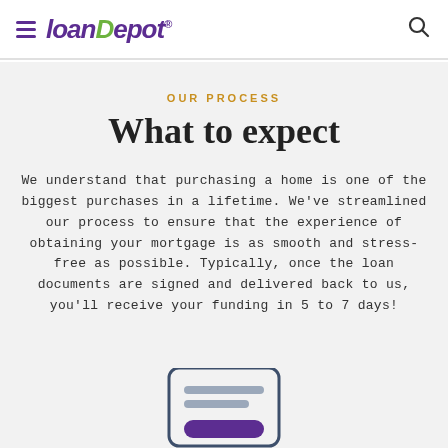loanDepot
OUR PROCESS
What to expect
We understand that purchasing a home is one of the biggest purchases in a lifetime. We've streamlined our process to ensure that the experience of obtaining your mortgage is as smooth and stress-free as possible. Typically, once the loan documents are signed and delivered back to us, you'll receive your funding in 5 to 7 days!
[Figure (illustration): A rounded rectangle card icon with horizontal lines representing text and a purple button at the bottom, resembling a document or form interface.]